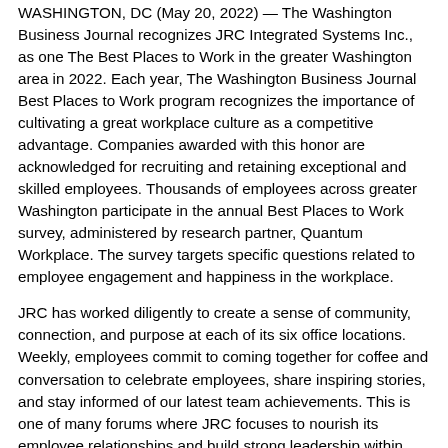WASHINGTON, DC (May 20, 2022) — The Washington Business Journal recognizes JRC Integrated Systems Inc., as one The Best Places to Work in the greater Washington area in 2022. Each year, The Washington Business Journal Best Places to Work program recognizes the importance of cultivating a great workplace culture as a competitive advantage. Companies awarded with this honor are acknowledged for recruiting and retaining exceptional and skilled employees. Thousands of employees across greater Washington participate in the annual Best Places to Work survey, administered by research partner, Quantum Workplace. The survey targets specific questions related to employee engagement and happiness in the workplace.
JRC has worked diligently to create a sense of community, connection, and purpose at each of its six office locations. Weekly, employees commit to coming together for coffee and conversation to celebrate employees, share inspiring stories, and stay informed of our latest team achievements. This is one of many forums where JRC focuses to nourish its employee relationships and build strong leadership within. The quality we provide to our government customers starts with how we